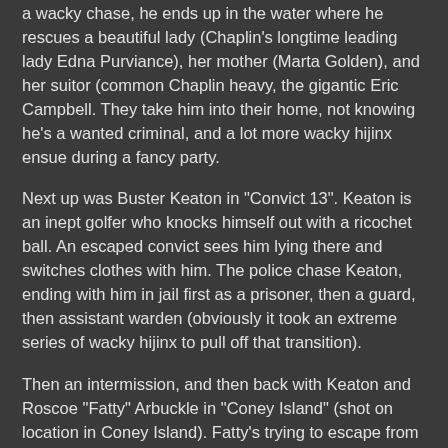a wacky chase, he ends up in the water where he rescues a beautiful lady (Chaplin's longtime leading lady Edna Purviance), her mother (Marta Golden), and her suitor (common Chaplin heavy, the gigantic Eric Campbell. They take him into their home, not knowing he's a wanted criminal, and a lot more wacky hijinx ensue during a fancy party.
Next up was Buster Keaton in "Convict 13". Keaton is an inept golfer who knocks himself out with a ricochet ball. An escaped convict sees him lying there and switches clothes with him. The police chase Keaton, ending with him in jail first as a prisoner, then a guard, then assistant warden (obviously it took an extreme series of wacky hijinx to pull off that transition).
Then an intermission, and then back with Keaton and Roscoe "Fatty" Arbuckle in "Coney Island" (shot on location in Coney Island). Fatty's trying to escape from his wife and pick up another girl. Keaton is one of his rivals (specifically, the one with no money). By the way, this is so early in Keaton's career that (according to IMDb) he was uncredited in the role (and the role of the mustachioed policeman). But